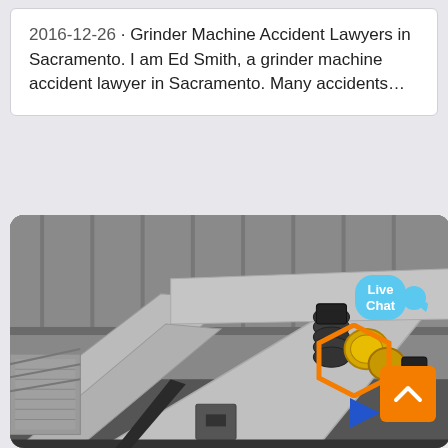2016-12-26 · Grinder Machine Accident Lawyers in Sacramento. I am Ed Smith, a grinder machine accident lawyer in Sacramento. Many accidents…
[Figure (photo): Industrial grinder machine photographed in a large industrial facility with metal framework and machinery components visible. A 'Live Chat' speech bubble overlay is in the top right. An orange scroll-to-top button is in the bottom right corner with an upward chevron. Orange hexagon and blue arrow decorative elements are also visible.]